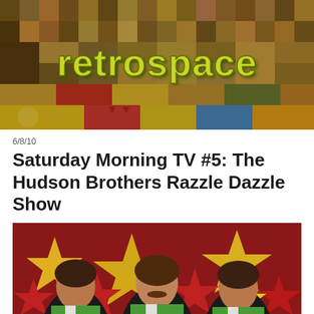[Figure (photo): Retrospace blog header banner — colorful collage of 1970s pop culture images, magazine covers, and celebrities arranged in a grid, with the word 'retrospace' displayed in large yellow-green retro bubble/groovy lettering in the center]
6/8/10
Saturday Morning TV #5: The Hudson Brothers Razzle Dazzle Show
[Figure (photo): Three men (the Hudson Brothers) standing in front of a colorful backdrop featuring large yellow stars and red stars on a red background, all wearing green and white polo/vest style shirts, 1970s TV show appearance]